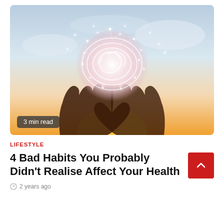[Figure (photo): Two hands raised upward holding a glowing brain made of light and neural network, against a warm sunset sky background]
3 min read
LIFESTYLE
4 Bad Habits You Probably Didn't Realise Affect Your Health
2 years ago